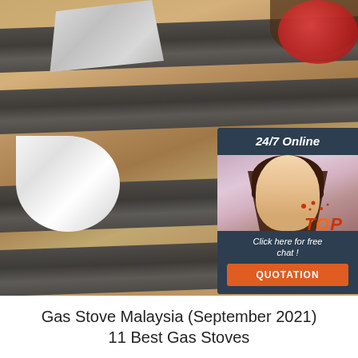[Figure (photo): Kitchen cooking utensils (spatula and ladle/wok turner) with dark ribbed holders laid on a wooden surface, with tomatoes and vegetables visible. Overlaid with a 24/7 online chat widget showing a female customer service agent with headset, 'Click here for free chat!' text, and an orange QUOTATION button. A 'TOP' logo watermark appears in the lower right corner of the photo.]
Gas Stove Malaysia (September 2021)
11 Best Gas Stoves